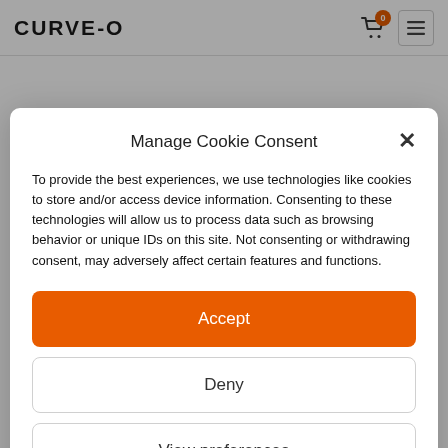[Figure (logo): CURVE-O brand logo in bold black letters]
Manage Cookie Consent
To provide the best experiences, we use technologies like cookies to store and/or access device information. Consenting to these technologies will allow us to process data such as browsing behavior or unique IDs on this site. Not consenting or withdrawing consent, may adversely affect certain features and functions.
Accept
Deny
View preferences
Not applicable
Where to get the best miniature